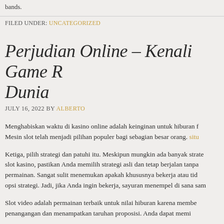bands.
FILED UNDER: UNCATEGORIZED
Perjudian Online – Kenali Game R... Dunia
JULY 16, 2022 BY ALBERTO
Menghabiskan waktu di kasino online adalah keinginan untuk hiburan f... Mesin slot telah menjadi pilihan populer bagi sebagian besar orang. situ...
Ketiga, pilih strategi dan patuhi itu. Meskipun mungkin ada banyak strate... slot kasino, pastikan Anda memilih strategi asli dan tetap berjalan tanpa permainan. Sangat sulit menemukan apakah khususnya bekerja atau tid... opsi strategi. Jadi, jika Anda ingin bekerja, sayuran menempel di sana sam...
Slot video adalah permainan terbaik untuk nilai hiburan karena membe... penangangan dan menampatkan taruhan proposisi. Anda dapat memi...